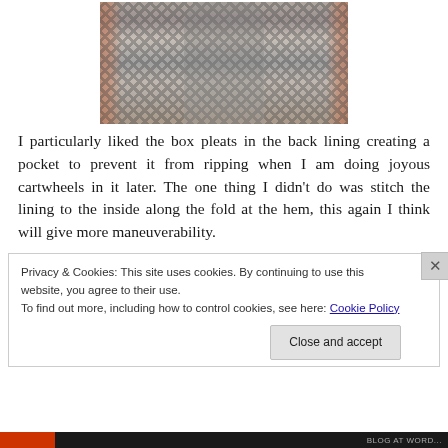[Figure (photo): A person wearing a houndstooth or checkered skirt, standing in front of a white door and brick wall background. Only the torso and lower body visible.]
I particularly liked the box pleats in the back lining creating a pocket to prevent it from ripping when I am doing joyous cartwheels in it later. The one thing I didn't do was stitch the lining to the inside along the fold at the hem, this again I think will give more maneuverability.
Privacy & Cookies: This site uses cookies. By continuing to use this website, you agree to their use.
To find out more, including how to control cookies, see here: Cookie Policy
Close and accept